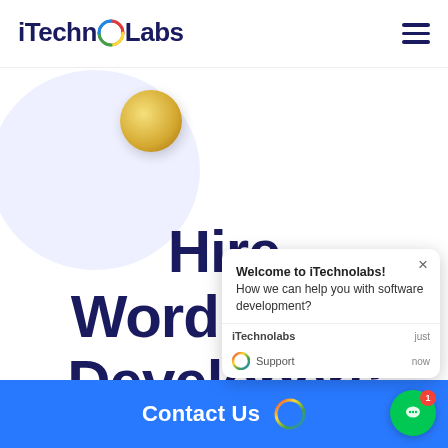iTechnoLabs
Hire WordPress Developers for favorab
[Figure (illustration): Decorative background: light blue circle with golden orb/sphere in foreground]
Welcome to iTechnolabs! How we can help you with software development?
iTechnolabs   just
Support        now
Contact Us